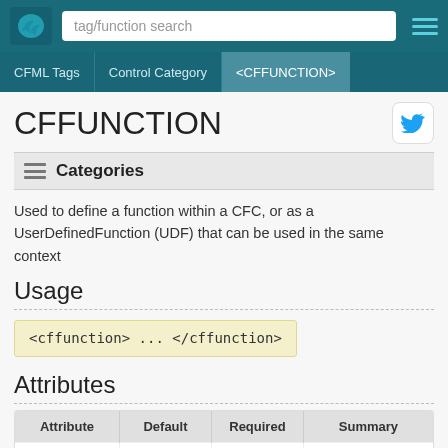tag/function search
CFML Tags | Control Category | <CFFUNCTION>
CFFUNCTION
Categories
Used to define a function within a CFC, or as a UserDefinedFunction (UDF) that can be used in the same context
Usage
<cffunction> ... </cffunction>
Attributes
| Attribute | Default | Required | Summary |
| --- | --- | --- | --- |
|  |  |  |  |